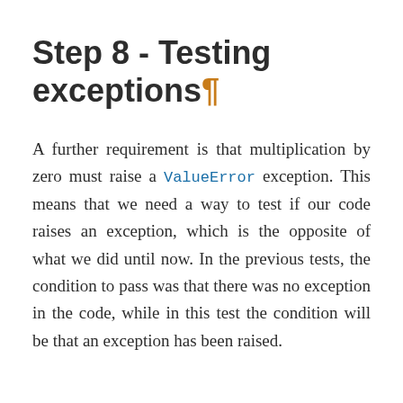Step 8 - Testing exceptions ¶
A further requirement is that multiplication by zero must raise a ValueError exception. This means that we need a way to test if our code raises an exception, which is the opposite of what we did until now. In the previous tests, the condition to pass was that there was no exception in the code, while in this test the condition will be that an exception has been raised.